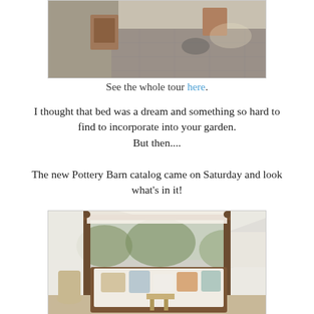[Figure (photo): Outdoor patio with tiled floor, wooden planters, and patio furniture]
See the whole tour here.
I thought that bed was a dream and something so hard to find to incorporate into your garden. But then....
The new Pottery Barn catalog came on Saturday and look what's in it!
[Figure (photo): Outdoor canopy daybed with white curtains and colorful pillows from Pottery Barn catalog]